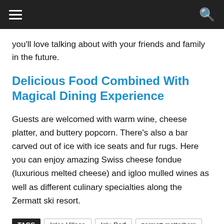you'll love talking about with your friends and family in the future.
Delicious Food Combined With Magical Dining Experience
Guests are welcomed with warm wine, cheese platter, and buttery popcorn. There's also a bar carved out of ice with ice seats and fur rugs. Here you can enjoy amazing Swiss cheese fondue (luxurious melted cheese) and igloo mulled wines as well as different culinary specialties along the Zermatt ski resort.
TAGS   Igloo Village   Iglu-Dorf   zermatt matterhorn   Zermatt ski resort